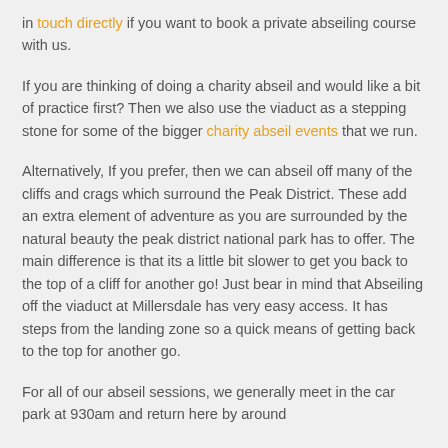in touch directly if you want to book a private abseiling course with us.
If you are thinking of doing a charity abseil and would like a bit of practice first? Then we also use the viaduct as a stepping stone for some of the bigger charity abseil events that we run.
Alternatively, If you prefer, then we can abseil off many of the cliffs and crags which surround the Peak District. These add an extra element of adventure as you are surrounded by the natural beauty the peak district national park has to offer. The main difference is that its a little bit slower to get you back to the top of a cliff for another go! Just bear in mind that Abseiling off the viaduct at Millersdale has very easy access. It has steps from the landing zone so a quick means of getting back to the top for another go.
For all of our abseil sessions, we generally meet in the car park at 930am and return here by around